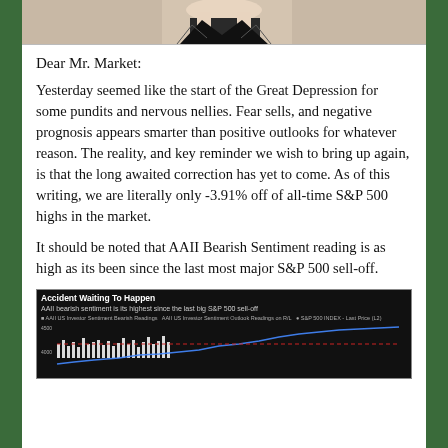[Figure (illustration): Top portion of a comic-style illustration showing a figure, partially cropped]
Dear Mr. Market:
Yesterday seemed like the start of the Great Depression for some pundits and nervous nellies. Fear sells, and negative prognosis appears smarter than positive outlooks for whatever reason. The reality, and key reminder we wish to bring up again, is that the long awaited correction has yet to come. As of this writing, we are literally only -3.91% off of all-time S&P 500 highs in the market.
It should be noted that AAII Bearish Sentiment reading is as high as its been since the last most major S&P 500 sell-off.
[Figure (continuous-plot): Dark-background chart titled 'Accident Waiting To Happen' showing AAII bearish sentiment vs S&P 500 index. Subtitle: AAII bearish sentiment is its highest since the last big S&P 500 sell-off. Shows bar chart of AAII US Investor Sentiment Bearish Readings vs S&P 500 Index last price, with y-axis showing values around 4000-4500 on left and spread values 10-30 on right. A red dashed horizontal line is visible.]